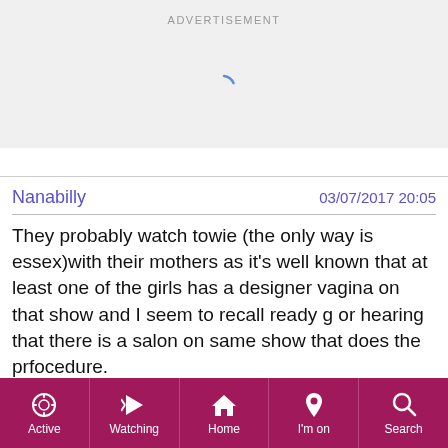ADVERTISEMENT
[Figure (other): Loading spinner arc (partial circle indicating loading state)]
Nanabilly	03/07/2017 20:05
They probably watch towie (the only way is essex)with their mothers as it's well known that at least one of the girls has a designer vagina on that show and I seem to recall ready g or hearing that there is a salon on same show that does the prfocedure.
Doing ask me what it entails though . I don't know and dread to think
Active  Watching  Home  I'm on  Search